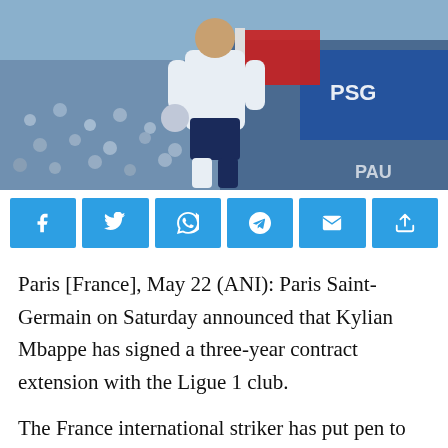[Figure (photo): A football player in white and dark blue PSG kit standing on the pitch with a crowd and PSG banners/flags in the background.]
Paris [France], May 22 (ANI): Paris Saint-Germain on Saturday announced that Kylian Mbappe has signed a three-year contract extension with the Ligue 1 club.
The France international striker has put pen to paper on a new deal with the Parisians until June 30, 2025.